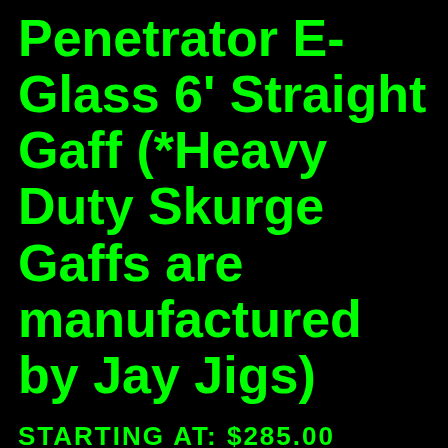Penetrator E-Glass 6' Straight Gaff (*Heavy Duty Skurge Gaffs are manufactured by Jay Jigs)
STARTING AT: $285.00
Skurge of the Sea has commissioned Jay Jig's Custom Rod and Tackle to create a Heavy Duty, Overbuilt line of Custom E-Glass Handle Gaffs. These Gaffs are not only some of the highest quality, heavy duty, offshore pieces of equipment on market, they also float!!  We beefed up the hooks and built these gaffs to go way above and beyond what is expected in a